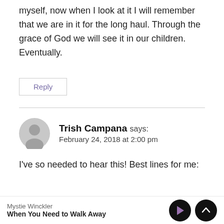myself, now when I look at it I will remember that we are in it for the long haul. Through the grace of God we will see it in our children. Eventually.
Reply
Trish Campana says:
February 24, 2018 at 2:00 pm
I've so needed to hear this! Best lines for me:
Mystie Winckler
When You Need to Walk Away